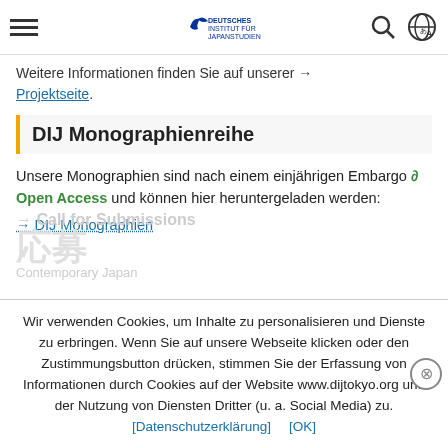Navigation bar with hamburger menu, DIJ logo, search icon, language icon
Weitere Informationen finden Sie auf unserer → Projektseite.
DIJ Monographienreihe
Unsere Monographien sind nach einem einjährigen Embargo 🔓 Open Access und können hier heruntergeladen werden:
→ DIJ Monographien
Wir verwenden Cookies, um Inhalte zu personalisieren und Dienste zu erbringen. Wenn Sie auf unsere Webseite klicken oder den Zustimmungsbutton drücken, stimmen Sie der Erfassung von Informationen durch Cookies auf der Website www.dijtokyo.org und der Nutzung von Diensten Dritter (u. a. Social Media) zu. [Datenschutzerklärung] [OK]